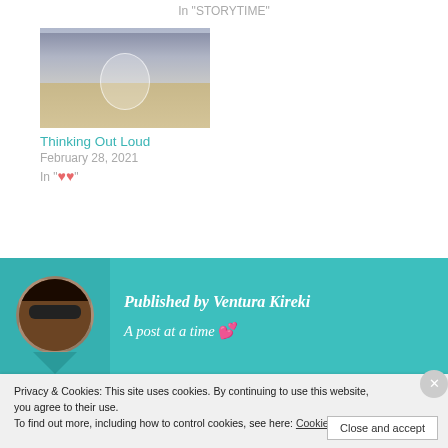In "STORYTIME"
[Figure (photo): Photo of a glass bubble or sphere on a sandy surface under a cloudy sky]
Thinking Out Loud
February 28, 2021
In "❤❤"
Published by Ventura Kireki
A post at a time 💕
Privacy & Cookies: This site uses cookies. By continuing to use this website, you agree to their use.
To find out more, including how to control cookies, see here: Cookie Policy
Close and accept
WordPress Works Best